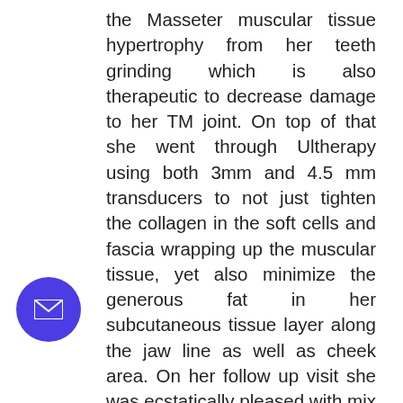the Masseter muscular tissue hypertrophy from her teeth grinding which is also therapeutic to decrease damage to her TM joint. On top of that she went through Ultherapy using both 3mm and 4.5 mm transducers to not just tighten the collagen in the soft cells and fascia wrapping up the muscular tissue, yet also minimize the generous fat in her subcutaneous tissue layer along the jaw line as well as cheek area. On her follow up visit she was ecstatically pleased with mix of refined lift and also narrowing of her face structure from Ultherapy and also constricting of her jaw angle from minimizing the mass of her Masseter muscle using the Botox. She jokingly recognizes “virtually” seeing the V-line yet ntial, pleased about not needing to fret about posing behind her buddies to make her
[Figure (other): Round purple/indigo chat button with envelope/mail icon]